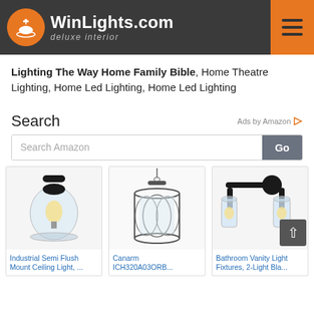WinLights.com deluxe interior
Lighting The Way Home Family Bible, Home Theatre Lighting, Home Led Lighting, Home Led Lighting
Search
Ads by Amazon
Search Amazon
[Figure (photo): Industrial Semi Flush Mount Ceiling Light with clear glass globe and Edison bulb, black finish]
Industrial Semi Flush Mount Ceiling Light, ...
[Figure (photo): Canarm ICH320A03ORB pendant light with decorative metal frame and glass shade]
Canarm ICH320A03ORB...
[Figure (photo): Bathroom Vanity Light Fixtures, 2-Light black finish with clear glass cylinders]
Bathroom Vanity Light Fixtures, 2-Light Bla...